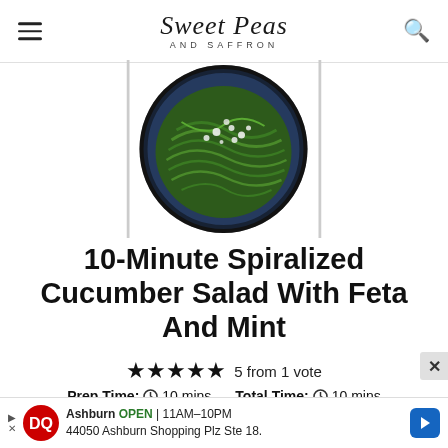Sweet Peas AND SAFFRON
[Figure (photo): Overhead view of a blue bowl containing spiralized cucumber noodles topped with crumbled feta cheese, served on a dark bowl]
10-Minute Spiralized Cucumber Salad With Feta And Mint
5 from 1 vote
Prep Time: 10 mins   Total Time: 10 mins
Pin   Print   Rate